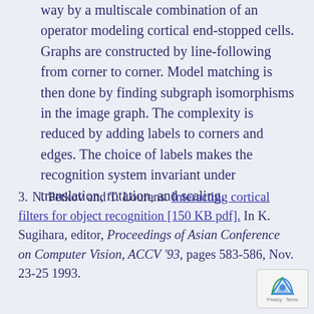way by a multiscale combination of an operator modeling cortical end-stopped cells. Graphs are constructed by line-following from corner to corner. Model matching is then done by finding subgraph isomorphisms in the image graph. The complexity is reduced by adding labels to corners and edges. The choice of labels makes the recognition system invariant under translation, rotation, and scaling.
N. Petkov and T. Lourens. Interacting cortical filters for object recognition [150 KB pdf]. In K. Sugihara, editor, Proceedings of Asian Conference on Computer Vision, ACCV '93, pages 583-586, Nov. 23-25 1993.